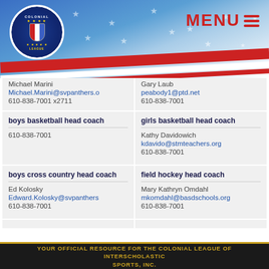[Figure (logo): Colonial League circular logo with stars and shield on blue banner header with MENU button]
Michael Marini
Michael.Marini@svpanthers.o
610-838-7001 x2711
Gary Laub
peabody1@ptd.net
610-838-7001
boys basketball head coach
610-838-7001
girls basketball head coach
Kathy Davidowich
kdavido@stmteachers.org
610-838-7001
boys cross country head coach
Ed Kolosky
Edward.Kolosky@svpanthers
610-838-7001
field hockey head coach
Mary Kathryn Omdahl
mkomdahl@basdschools.org
610-838-7001
YOUR OFFICIAL RESOURCE FOR THE COLONIAL LEAGUE OF INTERSCHOLASTIC SPORTS, INC.